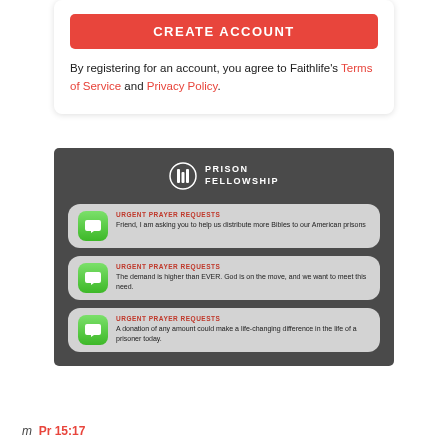[Figure (screenshot): Create account button (red/coral) with text 'Create account']
By registering for an account, you agree to Faithlife's Terms of Service and Privacy Policy.
[Figure (screenshot): Prison Fellowship promotional image showing three urgent prayer request message cards over a dark background of prison bars. Each card has a green message bubble icon, bold red 'URGENT PRAYER REQUESTS' label, and body text. Card 1: 'Friend, I am asking you to help us distribute more Bibles to our American prisons'. Card 2: 'The demand is higher than EVER. God is on the move, and we want to meet this need.' Card 3: 'A donation of any amount could make a life-changing difference in the life of a prisoner today.']
m Pr 15:17